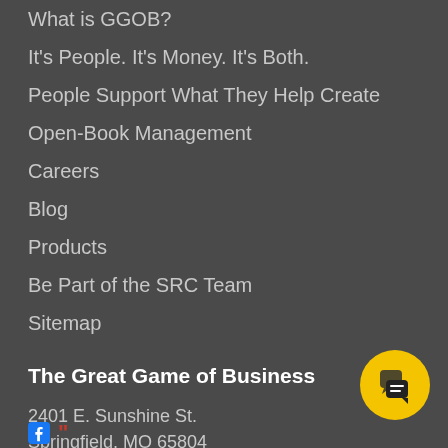What is GGOB?
It's People. It's Money. It's Both.
People Support What They Help Create
Open-Book Management
Careers
Blog
Products
Be Part of the SRC Team
Sitemap
The Great Game of Business
2401 E. Sunshine St.
Springfield, MO 65804
800.386.2752
info@ggob.com